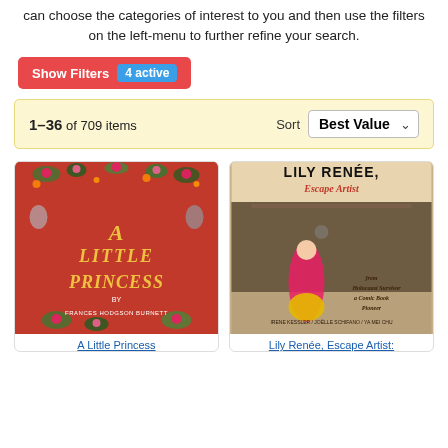can choose the categories of interest to you and then use the filters on the left-menu to further refine your search.
[Figure (screenshot): Show Filters button (red) with '4 active' badge (blue)]
1-36 of 709 items   Sort  Best Value
[Figure (illustration): Book cover: A Little Princess by Frances Hodgson Burnett - red background with floral decorations]
[Figure (illustration): Book cover: Lily Renee, Escape Artist - From Holocaust Survivor to Comic Book Pioneer]
A Little Princess
Lily Renée, Escape Artist: